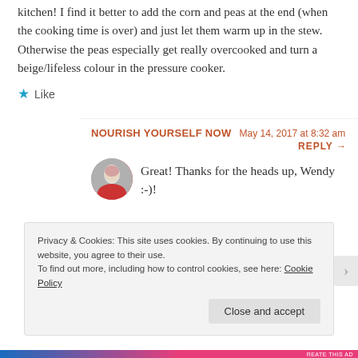kitchen! I find it better to add the corn and peas at the end (when the cooking time is over) and just let them warm up in the stew. Otherwise the peas especially get really overcooked and turn a beige/lifeless colour in the pressure cooker.
★ Like
NOURISH YOURSELF NOW  May 14, 2017 at 8:32 am
REPLY →
Great! Thanks for the heads up, Wendy :-)!
Privacy & Cookies: This site uses cookies. By continuing to use this website, you agree to their use. To find out more, including how to control cookies, see here: Cookie Policy
Close and accept